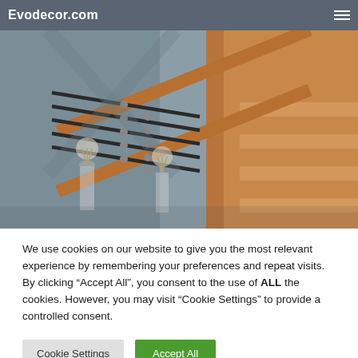Evodecor.com
[Figure (photo): Interior staircase with wooden handrail and black metal horizontal balusters, warm wood tones, with decorative dried flowers visible through the railing]
We use cookies on our website to give you the most relevant experience by remembering your preferences and repeat visits. By clicking “Accept All”, you consent to the use of ALL the cookies. However, you may visit “Cookie Settings” to provide a controlled consent.
Cookie Settings | Accept All